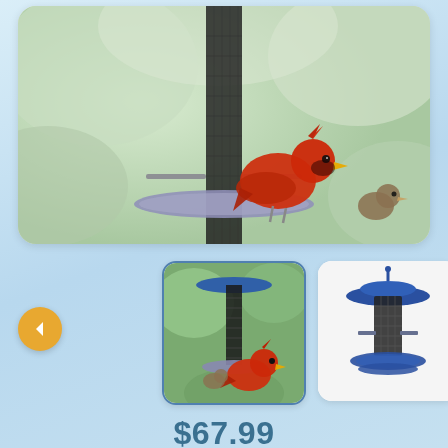[Figure (photo): Main product photo: a red cardinal bird perched on a blue-topped bird feeder with mesh cylinder body, green leafy background]
[Figure (photo): Thumbnail 1 (selected/active): bird feeder with cardinal perched on it, green outdoor background]
[Figure (photo): Thumbnail 2: bird feeder product shot on white/light background, showing blue top and mesh cylinder with tray]
$67.99
SKU: HIATT38198
Sorry this item is out of stock